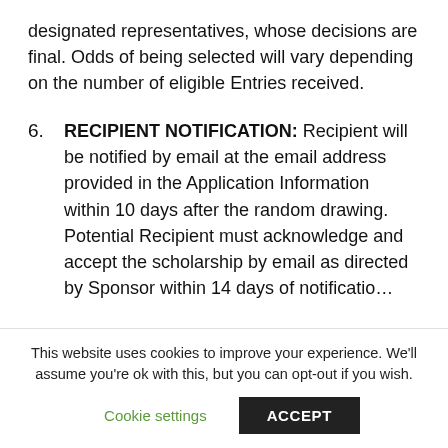designated representatives, whose decisions are final. Odds of being selected will vary depending on the number of eligible Entries received.
6. RECIPIENT NOTIFICATION: Recipient will be notified by email at the email address provided in the Application Information within 10 days after the random drawing. Potential Recipient must acknowledge and accept the scholarship by email as directed by Sponsor within 14 days of notification...
This website uses cookies to improve your experience. We'll assume you're ok with this, but you can opt-out if you wish.
Cookie settings  ACCEPT